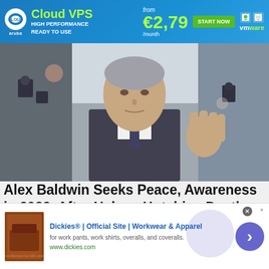[Figure (screenshot): Blue advertisement banner for Cloud VPS hosting service showing logo, 'Cloud VPS HIGH PERFORMANCE READY TO USE', price from €2,79/month, START NOW button, and VMware logo]
[Figure (photo): Photo of Alec Baldwin in a dark suit waving to cameras at what appears to be a public event, with photographers in the background]
Alex Baldwin Seeks Peace, Awareness in 2022, After Halyna Hutchins Death
[Figure (screenshot): Bottom advertisement overlay for Dickies workwear showing product image, 'Dickies® | Official Site | Workwear & Apparel', description 'for work pants, work shirts, overalls, and coveralls.', URL www.dickies.com, and a navigation arrow button]